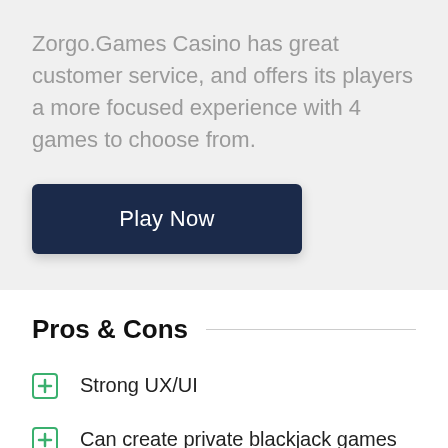Zorgo.Games Casino has great customer service, and offers its players a more focused experience with 4 games to choose from.
[Figure (other): Dark navy blue 'Play Now' button]
Pros & Cons
Strong UX/UI
Can create private blackjack games